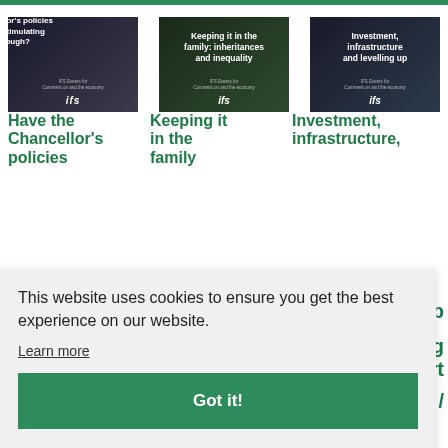[Figure (screenshot): Thumbnail image: person in dark setting with white bold text overlay reading 'Have the Chancellor's policies been stimulating enough?']
[Figure (screenshot): Thumbnail image: manor house exterior with white bold text overlay reading 'Keeping it in the family: inheritances and inequality']
[Figure (screenshot): Thumbnail image: railway/infrastructure with white bold text overlay reading 'Investment, infrastructure and levelling up']
Have the Chancellor's policies
Keeping it in the
Investment, infrastructure,
This website uses cookies to ensure you get the best experience on our website.
Learn more
Got it!
Chancellor
wealth to
agenda. They